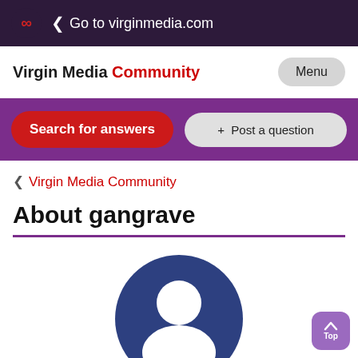Go to virginmedia.com
Virgin Media Community
Menu
Search for answers
+ Post a question
Virgin Media Community
About gangrave
[Figure (illustration): Default user avatar icon: dark blue circle with white person silhouette (head and shoulders)]